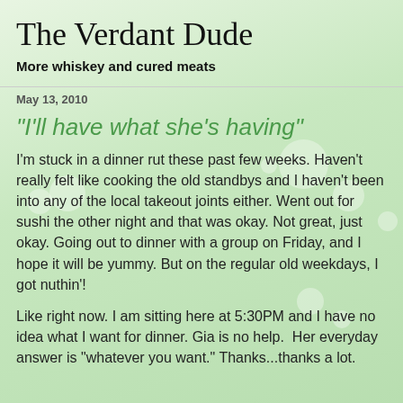The Verdant Dude
More whiskey and cured meats
May 13, 2010
"I'll have what she's having"
I'm stuck in a dinner rut these past few weeks. Haven't really felt like cooking the old standbys and I haven't been into any of the local takeout joints either. Went out for sushi the other night and that was okay. Not great, just okay. Going out to dinner with a group on Friday, and I hope it will be yummy. But on the regular old weekdays, I got nuthin'!
Like right now. I am sitting here at 5:30PM and I have no idea what I want for dinner. Gia is no help.  Her everyday answer is "whatever you want." Thanks...thanks a lot.